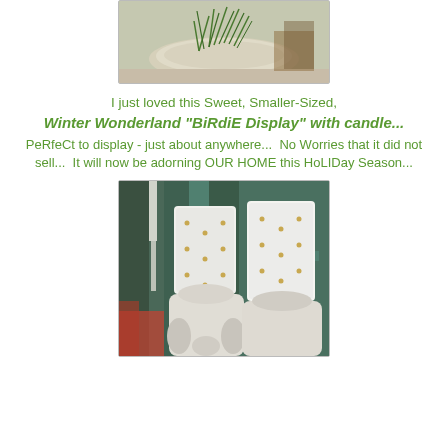[Figure (photo): Top portion of a photo showing a small winter wonderland bird display with candle and greenery in a white stone/ceramic dish]
I just loved this Sweet, Smaller-Sized, Winter Wonderland "BiRdiE Display" with candle... PeRfeCt to display - just about anywhere...  No Worries that it did not sell...  It will now be adorning OUR HOME this HoLIDay Season...
[Figure (photo): Two white square candles with small gold/bronze dots sitting on what appears to be a white ceramic base, displayed against a teal/green weathered wooden background]